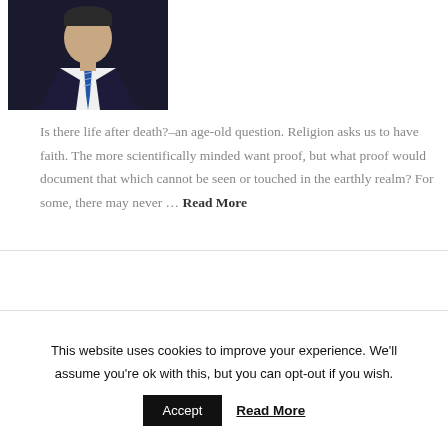[Figure (photo): Headshot of a man wearing a dark suit and blue striped tie against a white background.]
Is there life after death?–an age-old question. Religion asks us to have faith. The more scientifically minded want proof, but what proof would document that which cannot be seen or touched in the earthly realm? For some, there may never … Read More
This website uses cookies to improve your experience. We'll assume you're ok with this, but you can opt-out if you wish.
Accept   Read More